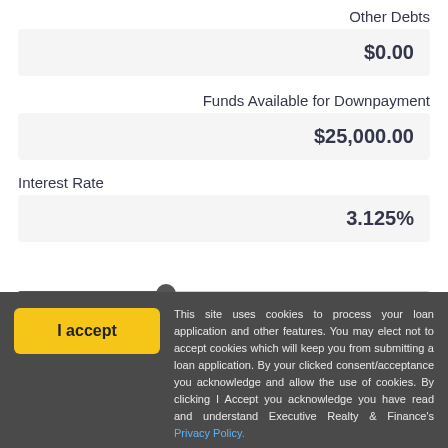Other Debts
$0.00
Funds Available for Downpayment
$25,000.00
Interest Rate
3.125%
Loan Length (Y...
30 Years
This site uses cookies to process your loan application and other features. You may elect not to accept cookies which will keep you from submitting a loan application. By your clicked consent/acceptance you acknowledge and allow the use of cookies. By clicking I Accept you acknowledge you have read and understand Executive Realty & Finance's Privacy Policy.
Instructions